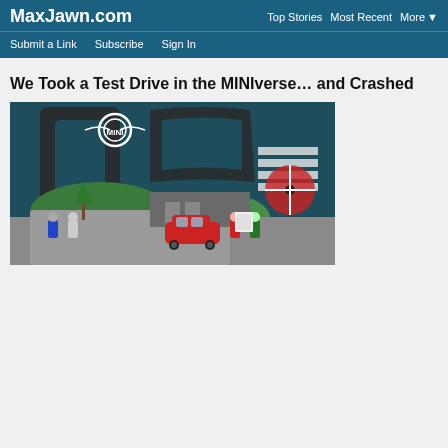MaxJawn.com | Top Stories  Most Recent  More ▼ | Submit a Link  Subscribe  Sign In
We Took a Test Drive in the MINIverse… and Crashed
[Figure (screenshot): Screenshot of a MINI branded virtual world/metaverse environment showing cartoon-style characters and a red MINI car in a showroom area, with large track letters in the background and the MINI logo]